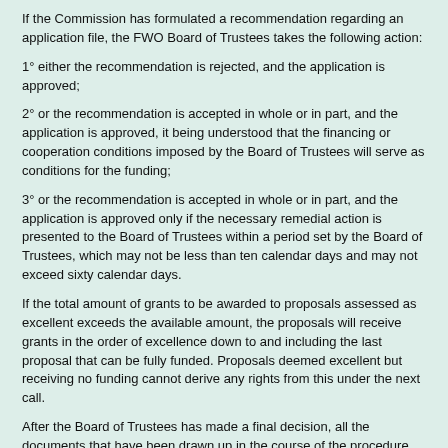If the Commission has formulated a recommendation regarding an application file, the FWO Board of Trustees takes the following action:
1° either the recommendation is rejected, and the application is approved;
2° or the recommendation is accepted in whole or in part, and the application is approved, it being understood that the financing or cooperation conditions imposed by the Board of Trustees will serve as conditions for the funding;
3° or the recommendation is accepted in whole or in part, and the application is approved only if the necessary remedial action is presented to the Board of Trustees within a period set by the Board of Trustees, which may not be less than ten calendar days and may not exceed sixty calendar days.
If the total amount of grants to be awarded to proposals assessed as excellent exceeds the available amount, the proposals will receive grants in the order of excellence down to and including the last proposal that can be fully funded. Proposals deemed excellent but receiving no funding cannot derive any rights from this under the next call.
After the Board of Trustees has made a final decision, all the documents that have been drawn up in the course of the procedure become public for the parties involved under the freedom of information legislation. This implies, inter alia, that the contents of the reviewer reports, the reasoned opinions of the Science and Invest commissions and the reasoned final decisions of the Board of Trustees can be consulted for inspection by all